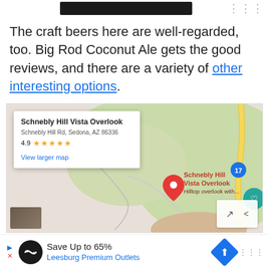[Figure (screenshot): Top bar with dark banner image and menu dots]
The craft beers here are well-regarded, too. Big Rod Coconut Ale gets the good reviews, and there are a variety of other interesting options.
[Figure (map): Google Maps screenshot showing Schnebly Hill Vista Overlook location in Sedona, AZ with info card showing 4.9 stars rating and a red location pin on the map]
[Figure (screenshot): Advertisement banner: Save Up to 65% - Leesburg Premium Outlets]